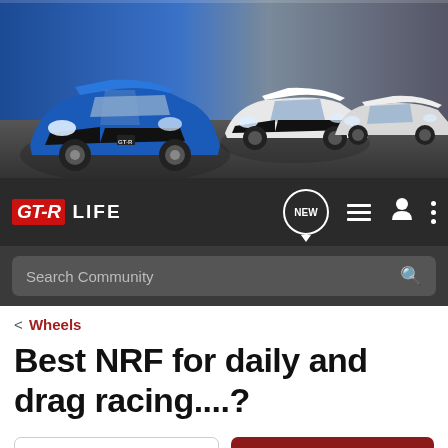[Figure (photo): Hero banner showing multiple Nissan GT-R generations lined up, including a blue modern R35 GT-R in the foreground and several white older GT-R models behind it]
[Figure (logo): GT-R LIFE website navigation bar with logo, NEW button, list icon, user icon, and more icon on dark background]
Search Community
< Wheels
Best NRF for daily and drag racing....?
→ Jump to Latest
+ Follow
1 - 7 of 7 Posts